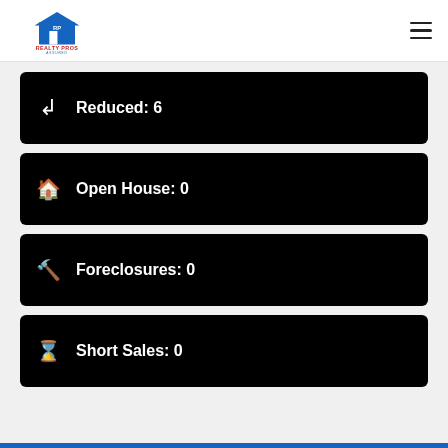Realty Pros Assured
Reduced: 6
Open House: 0
Foreclosures: 0
Short Sales: 0
East Daytona - Town vs. County Stats